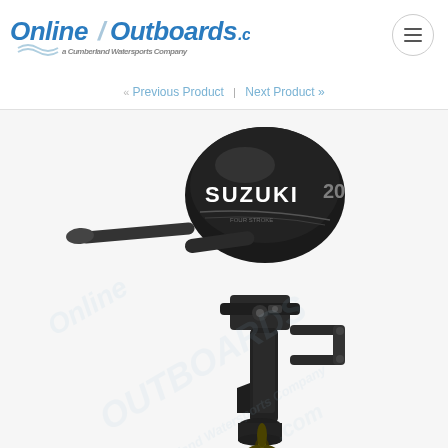OnlineOutboards.com — a Cumberland Watersports Company | « Previous Product | Next Product »
[Figure (photo): Suzuki 20 HP four-stroke outboard motor in black, shown at an angle with tiller handle extended to the left, mid-length shaft, with propeller at bottom. Watermark overlay reads 'OnlineOutboards.com / Cumberland Watersports Company'.]